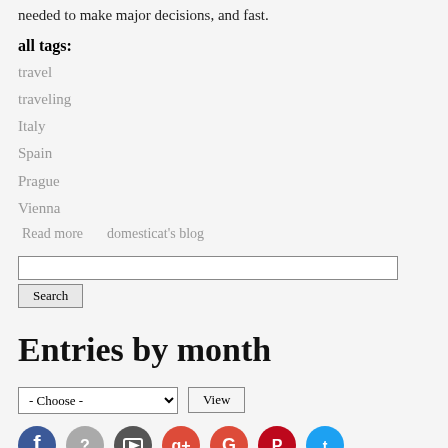needed to make major decisions, and fast.
all tags:
travel
traveling
Italy
Spain
Prague
Vienna
Read more    domesticat's blog
[Search input field]
Entries by month
- Choose -   View
[Figure (other): Social media icon buttons (Facebook, unknown, image, Google+, Google, Pinterest, Twitter) partially visible at bottom]